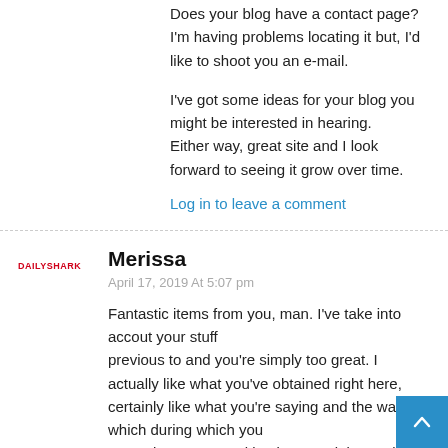Does your blog have a contact page? I'm having problems locating it but, I'd like to shoot you an e-mail.
I've got some ideas for your blog you might be interested in hearing.
Either way, great site and I look forward to seeing it grow over time.
Log in to leave a comment
Merissa
April 17, 2019 At 5:07 pm
Fantastic items from you, man. I've take into accout your stuff previous to and you're simply too great. I actually like what you've obtained right here, certainly like what you're saying and the way in which during which you assert it. You are making it entertaining and you continue to take care of to stay it smart. I can not wait to learn much more